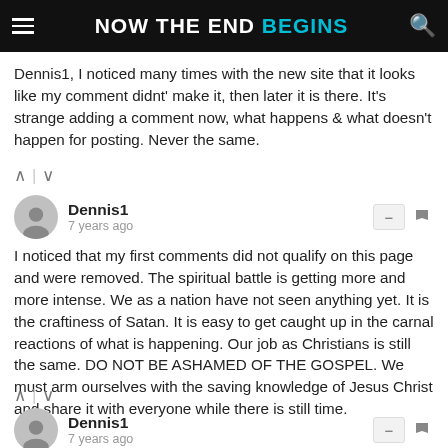NOW THE END BEGINS
Dennis1, I noticed many times with the new site that it looks like my comment didnt' make it, then later it is there. It's strange adding a comment now, what happens & what doesn't happen for posting. Never the same.
Dennis1 · 7 years ago
I noticed that my first comments did not qualify on this page and were removed. The spiritual battle is getting more and more intense. We as a nation have not seen anything yet. It is the craftiness of Satan. It is easy to get caught up in the carnal reactions of what is happening. Our job as Christians is still the same. DO NOT BE ASHAMED OF THE GOSPEL. We must arm ourselves with the saving knowledge of Jesus Christ and share it with everyone while there is still time.
Dennis1 · 7 years ago